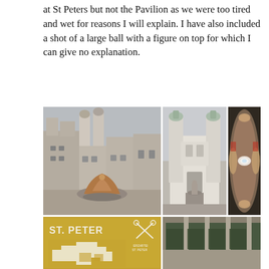at St Peters but not the Pavilion as we were too tired and wet for reasons I will explain. I have also included a shot of a large ball with a figure on top for which I can give no explanation.
[Figure (photo): A large ornate fountain in a square with baroque buildings and twin church towers in the background, overcast sky]
[Figure (photo): A baroque cathedral facade with twin towers and a statue/monument in front, overcast sky]
[Figure (photo): Interior wide-angle fisheye view of a church dome ceiling with frescoes and a circular skylight]
[Figure (photo): A floor plan sign reading ST. PETER with ERZABTEI ST. PETER logo, showing map of the St. Peter monastery complex]
[Figure (photo): Arcade/cloister walkway with stone arches and columns, green plants visible through the arches]
[Figure (photo): View of a cliff face with trees and what appears to be a tower or structure]